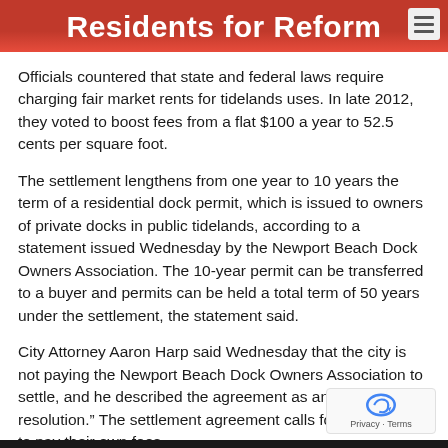Residents for Reform
Officials countered that state and federal laws require charging fair market rents for tidelands uses. In late 2012, they voted to boost fees from a flat $100 a year to 52.5 cents per square foot.
The settlement lengthens from one year to 10 years the term of a residential dock permit, which is issued to owners of private docks in public tidelands, according to a statement issued Wednesday by the Newport Beach Dock Owners Association. The 10-year permit can be transferred to a buyer and permits can be held a total term of 50 years under the settlement, the statement said.
City Attorney Aaron Harp said Wednesday that the city is not paying the Newport Beach Dock Owners Association to settle, and he described the agreement as an “amiable resolution.” The settlement agreement calls for both parties to pay their own fees.